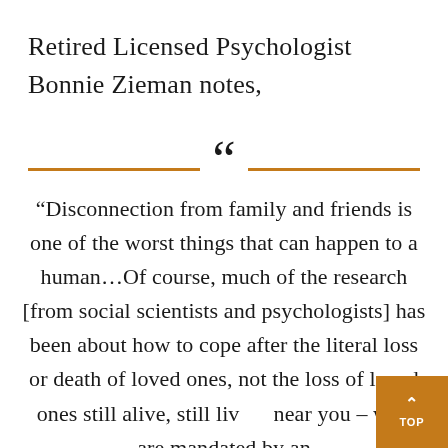Retired Licensed Psychologist Bonnie Zieman notes,
“Disconnection from family and friends is one of the worst things that can happen to a human…Of course, much of the research [from social scientists and psychologists] has been about how to cope after the literal loss or death of loved ones, not the loss of loved ones still alive, still living near you – who are mandated by an